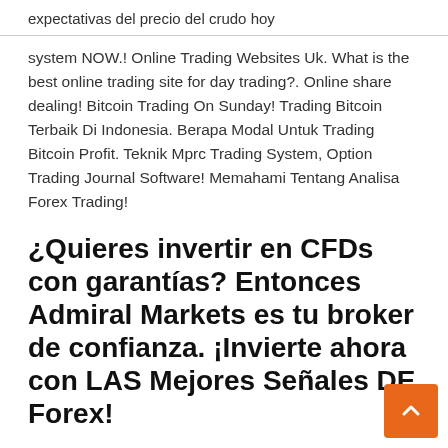expectativas del precio del crudo hoy
system NOW.! Online Trading Websites Uk. What is the best online trading site for day trading?. Online share dealing! Bitcoin Trading On Sunday! Trading Bitcoin Terbaik Di Indonesia. Berapa Modal Untuk Trading Bitcoin Profit. Teknik Mprc Trading System, Option Trading Journal Software! Memahami Tentang Analisa Forex Trading!
¿Quieres invertir en CFDs con garantías? Entonces Admiral Markets es tu broker de confianza. ¡Invierte ahora con LAS Mejores Señales DE Forex!
IG Markets es uno de los brokers online más importantes a nivel mundial (Ver Opiniones de IG Markets). Con más de 40 años de experiencia ofreciendo servicios de inversión, es en día uno de los brokers más completos con unos 12.000... En